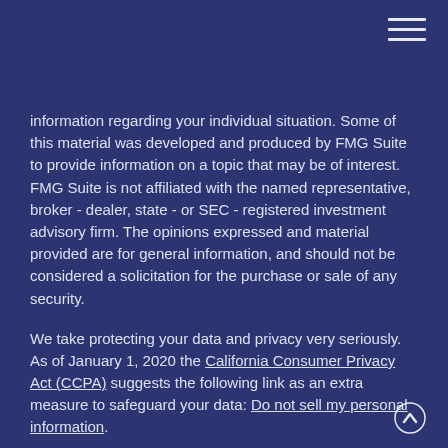information regarding your individual situation. Some of this material was developed and produced by FMG Suite to provide information on a topic that may be of interest. FMG Suite is not affiliated with the named representative, broker - dealer, state - or SEC - registered investment advisory firm. The opinions expressed and material provided are for general information, and should not be considered a solicitation for the purchase or sale of any security.
We take protecting your data and privacy very seriously. As of January 1, 2020 the California Consumer Privacy Act (CCPA) suggests the following link as an extra measure to safeguard your data: Do not sell my personal information.
Copyright 2022 FMG Suite.
Dudley Asset Management, Inc.
200 Professional Court Suite B, Calhoun, GA 30701
Securities and investment advisory services offered through Roy Alliance Associates, Inc. (RAA), member FINRA/SIPC. RAA is separately owned and other entities and/or marketing names, products